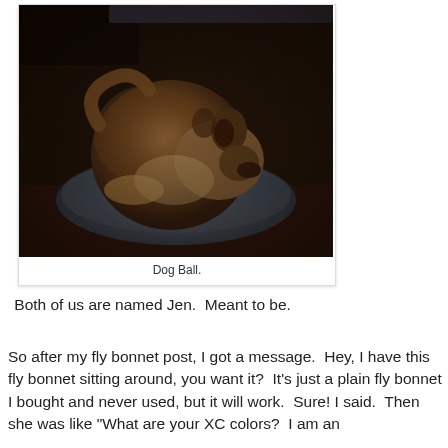[Figure (photo): A dog curled up into a ball sleeping in a round grey dog bed, photographed with a dark vintage-style filter. The dog appears to be a husky or similar breed.]
Dog Ball.
Both of us are named Jen.  Meant to be.
So after my fly bonnet post, I got a message.  Hey, I have this fly bonnet sitting around, you want it?  It's just a plain fly bonnet I bought and never used, but it will work.  Sure! I said.  Then she was like "What are your XC colors?  I am an